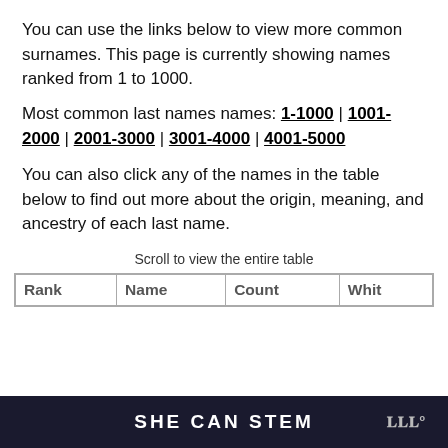You can use the links below to view more common surnames. This page is currently showing names ranked from 1 to 1000.
Most common last names names: 1-1000 | 1001-2000 | 2001-3000 | 3001-4000 | 4001-5000
You can also click any of the names in the table below to find out more about the origin, meaning, and ancestry of each last name.
Scroll to view the entire table
| Rank | Name | Count | Whit |
| --- | --- | --- | --- |
SHE CAN STEM